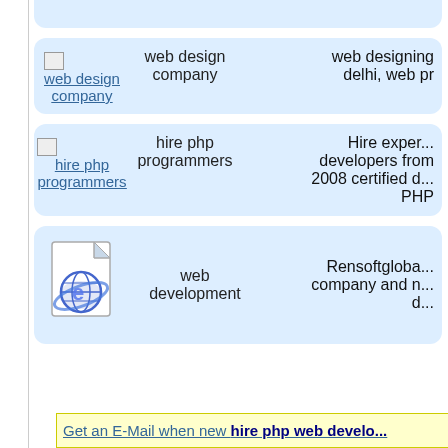[Figure (screenshot): Partial top card (clipped at top of page)]
web design company | web design company | web designing delhi, web pr...
hire php programmers | hire php programmers | Hire exper... developers from 2008 certified ... PHP
[IE document icon] | web development | Rensoftgloba... company and n... d...
Get an E-Mail when new hire php web develo...